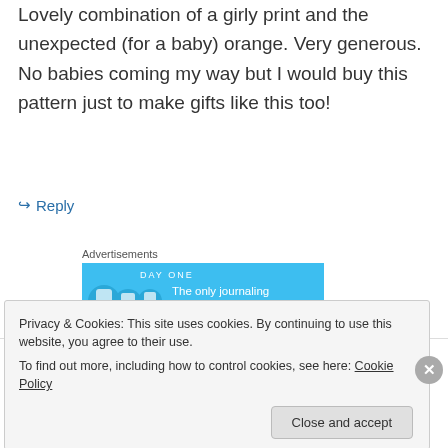Lovely combination of a girly print and the unexpected (for a baby) orange. Very generous. No babies coming my way but I would buy this pattern just to make gifts like this too!
↳ Reply
Advertisements
[Figure (screenshot): Day One journaling app advertisement banner — blue background with app icons and text: 'The only journaling app you'll ever need.']
Elizabeth on April 24, 2014 at 6:17 am
Privacy & Cookies: This site uses cookies. By continuing to use this website, you agree to their use.
To find out more, including how to control cookies, see here: Cookie Policy